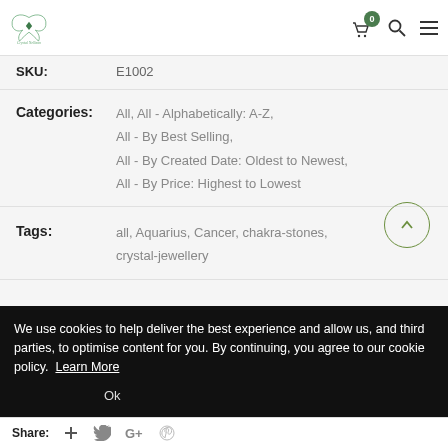Crystal Nellison - header with logo and cart/search/menu icons
SKU: E1002
Categories: All, All - Alphabetically: A-Z, All - By Best Selling, All - By Created Date: Oldest to Newest, All - By Price: Highest to Lowest
Tags: all, Aquarius, Cancer, chakra-stones, crystal-jewellery
We use cookies to help deliver the best experience and allow us, and third parties, to optimise content for you. By continuing, you agree to our cookie policy. Learn More
Ok
Share: